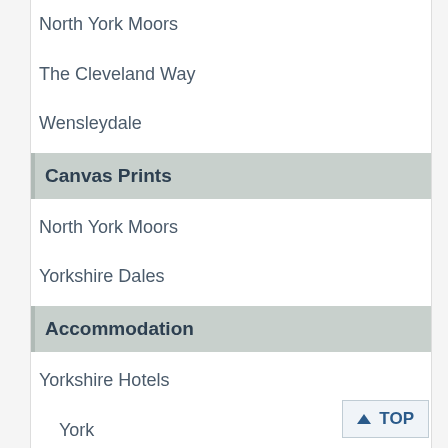North York Moors
The Cleveland Way
Wensleydale
Canvas Prints
North York Moors
Yorkshire Dales
Accommodation
Yorkshire Hotels
York
Self Catering
Yorkshire Dales Cottages
Bed & Breakfast